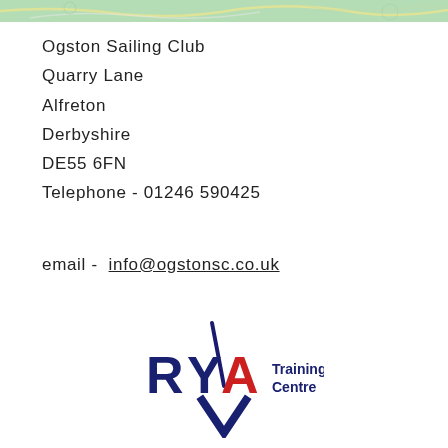[Figure (map): Top strip showing a portion of a map with 'Wirksworth' label and green/teal background with road/topographic markings]
Ogston Sailing Club
Quarry Lane
Alfreton
Derbyshire
DE55 6FN
Telephone - 01246 590425
email -  info@ogstonsc.co.uk
[Figure (logo): RYA Training Centre logo with navy blue RYA letters and checkmark, red A in RYA, dark navy chevron/tick below, and 'Training Centre' text to the right]